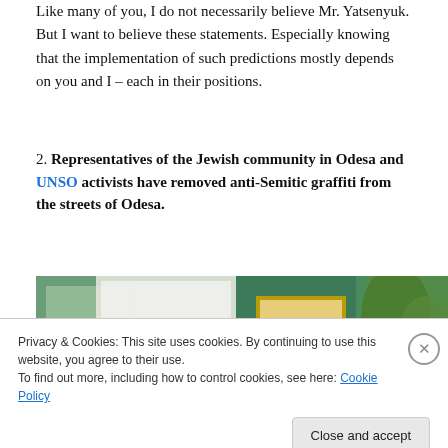Like many of you, I do not necessarily believe Mr. Yatsenyuk. But I want to believe these statements. Especially knowing that the implementation of such predictions mostly depends on you and I – each in their positions.
2. Representatives of the Jewish community in Odesa and UNSO activists have removed anti-Semitic graffiti from the streets of Odesa.
[Figure (photo): Photograph of a wall with graffiti, partially covered or painted over. Green paint visible on the wall with graffiti text visible.]
Privacy & Cookies: This site uses cookies. By continuing to use this website, you agree to their use.
To find out more, including how to control cookies, see here: Cookie Policy